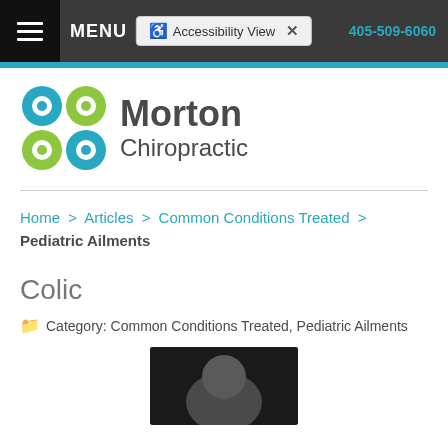MENU | Accessibility View | 405-509-6060
[Figure (logo): Morton Chiropractic logo with four colored circles and text]
Home > Articles > Common Conditions Treated > Pediatric Ailments
Colic
Category: Common Conditions Treated, Pediatric Ailments
[Figure (photo): Partial photo of a person against a dark background]